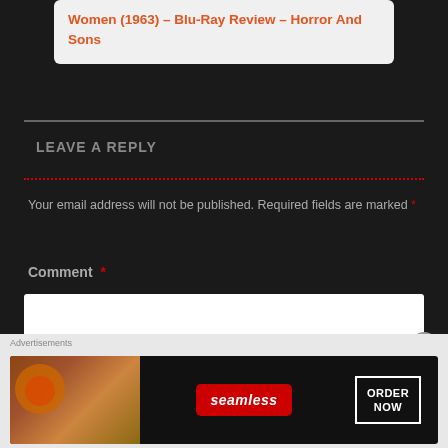Women (1963) – Blu-Ray Review – Horror And Sons
LEAVE A REPLY
Your email address will not be published. Required fields are marked *
Comment *
[Figure (screenshot): Comment text input box (white rectangle)]
[Figure (screenshot): Seamless food ordering advertisement banner with pizza image, Seamless logo in red, and ORDER NOW button]
Advertisements